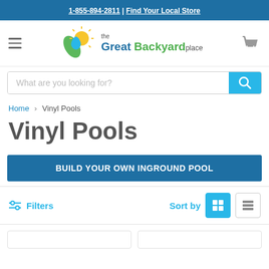1-855-894-2811 | Find Your Local Store
[Figure (logo): The Great Backyard Place logo with sun, leaf, and water drop]
What are you looking for?
Home > Vinyl Pools
Vinyl Pools
BUILD YOUR OWN INGROUND POOL
Filters   Sort by